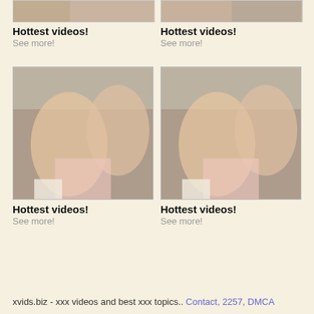[Figure (photo): Partially visible thumbnail image at top left]
Hottest videos!
See more!
[Figure (photo): Partially visible thumbnail image at top right]
Hottest videos!
See more!
[Figure (photo): Photo of two young women in a bathroom scene, left card]
Hottest videos!
See more!
[Figure (photo): Photo of two young women in a bathroom scene, right card]
Hottest videos!
See more!
xvids.biz - xxx videos and best xxx topics.. Contact, 2257, DMCA